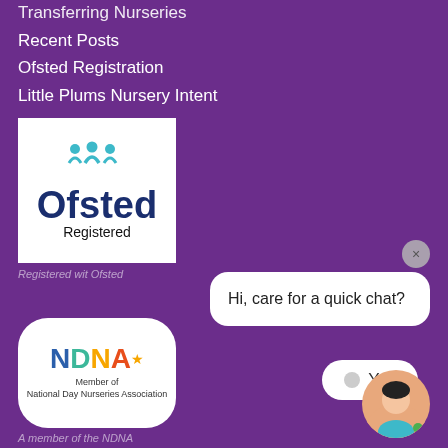Transferring Nurseries
Recent Posts
Ofsted Registration
Little Plums Nursery Intent
[Figure (logo): Ofsted Registered logo - white background with teal figure icons and dark navy 'Ofsted' text, with 'Registered' below in black]
Registered wit Ofsted
[Figure (logo): NDNA Member of National Day Nurseries Association logo on white rounded rectangle background]
A member of the NDNA
Hi, care for a quick chat?
Yes